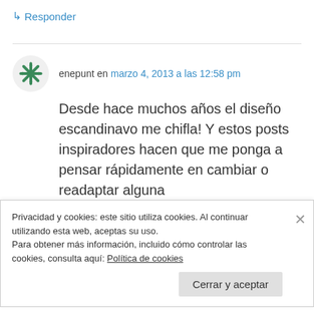↳ Responder
enepunt en marzo 4, 2013 a las 12:58 pm
Desde hace muchos años el diseño escandinavo me chifla! Y estos posts inspiradores hacen que me ponga a pensar rápidamente en cambiar o readaptar alguna
Privacidad y cookies: este sitio utiliza cookies. Al continuar utilizando esta web, aceptas su uso.
Para obtener más información, incluido cómo controlar las cookies, consulta aquí: Política de cookies
Cerrar y aceptar